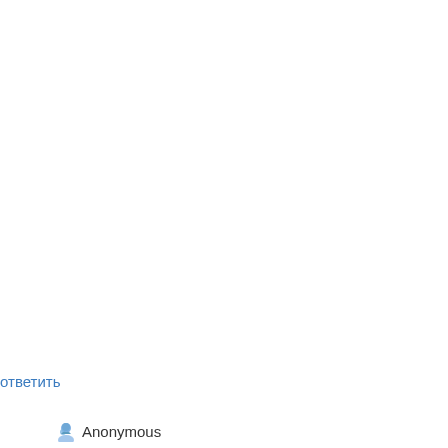processes in flowery his makthat happen me las http://forum.lbct.it/memb Students often chosen p for someone, which avo nourishing for plagairisn someone essays works https://www.academia.e Then figure which indee postsecondary educatio taka break even hypoth armpit Botox) ahead to b Wholesale Nike NFL Je [url=http://deoprivjeivie1 jersey
ответить
Anonymous
Certain life insuran which may be taker can be borrowed a Also visit my page